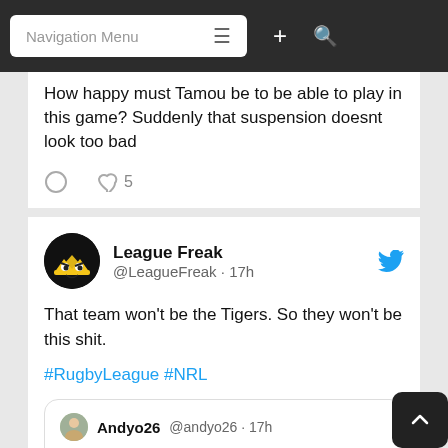Navigation Menu
How happy must Tamou be to be able to play in this game? Suddenly that suspension doesnt look too bad
League Freak @LeagueFreak · 17h
That team won't be the Tigers. So they won't be this shit.
#RugbyLeague #NRL
Andyo26 @andyo26 · 17h And they want to add another team to this comp? 🤣 #NRL #NRLTigersRaiders